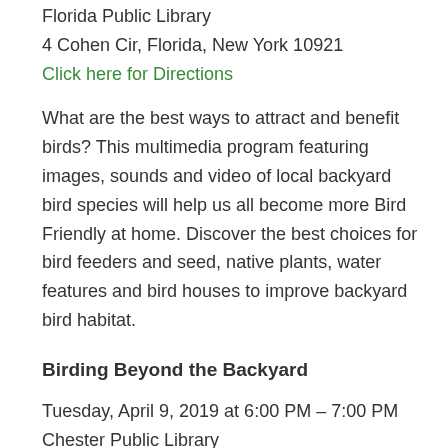Florida Public Library
4 Cohen Cir, Florida, New York 10921
Click here for Directions
What are the best ways to attract and benefit birds? This multimedia program featuring images, sounds and video of local backyard bird species will help us all become more Bird Friendly at home. Discover the best choices for bird feeders and seed, native plants, water features and bird houses to improve backyard bird habitat.
Birding Beyond the Backyard
Tuesday, April 9, 2019 at 6:00 PM – 7:00 PM
Chester Public Library
1784 Kings Hwy, Chester, New York 10918
Click for directions
Do sparrows confuse you? Trouble telling Downy from Hairy? A program for those who enjoy watching birds and want to become more observant...